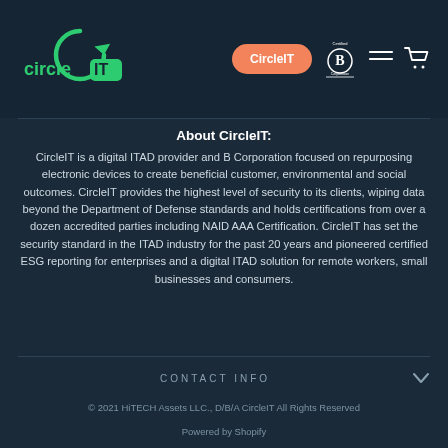[Figure (logo): CircleIT logo — green circular arrow with 'circle IT' text in green on dark navy background]
[Figure (logo): CircleIT orange pill-shaped button/nav element with white text 'CircleIT']
[Figure (logo): Certified B Corporation badge in white on dark background]
About CircleIT:
CircleIT is a digital ITAD provider and B Corporation focused on repurposing electronic devices to create beneficial customer, environmental and social outcomes. CircleIT provides the highest level of security to its clients, wiping data beyond the Department of Defense standards and holds certifications from over a dozen accredited parties including NAID AAA Certification. CircleIT has set the security standard in the ITAD industry for the past 20 years and pioneered certified ESG reporting for enterprises and a digital ITAD solution for remote workers, small businesses and consumers.
CONTACT INFO
© 2021 HiTECH Assets LLC., D/B/A CircleIT All Rights Reserved
Powered by Shopify